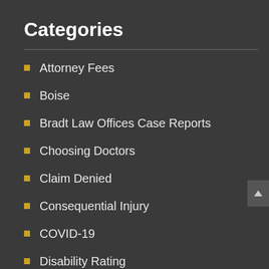Categories
Attorney Fees
Boise
Bradt Law Offices Case Reports
Choosing Doctors
Claim Denied
Consequential Injury
COVID-19
Disability Rating
Free Consultation